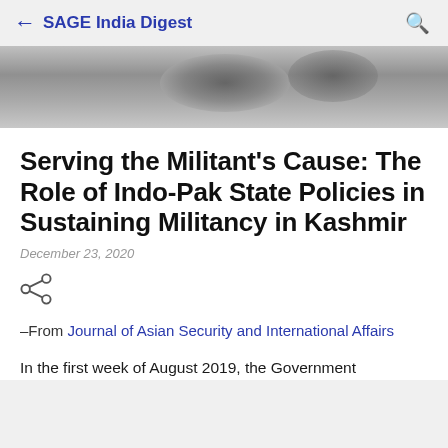← SAGE India Digest
[Figure (photo): Blurred dark grayscale background photo, likely an outdoor scene]
Serving the Militant's Cause: The Role of Indo-Pak State Policies in Sustaining Militancy in Kashmir
December 23, 2020
–From Journal of Asian Security and International Affairs
In the first week of August 2019, the Government